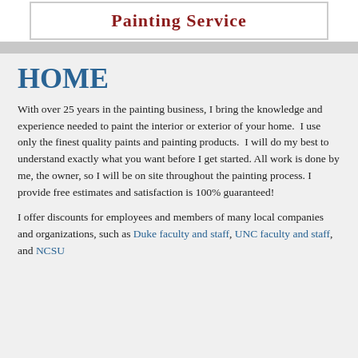[Figure (logo): Painting Service banner/logo with red bold text reading 'Painting Service' on white background with border]
HOME
With over 25 years in the painting business, I bring the knowledge and experience needed to paint the interior or exterior of your home.  I use only the finest quality paints and painting products.  I will do my best to understand exactly what you want before I get started.  All work is done by me, the owner, so I will be on site throughout the painting process. I provide free estimates and satisfaction is 100% guaranteed!
I offer discounts for employees and members of many local companies and organizations, such as Duke faculty and staff, UNC faculty and staff, and NCSU